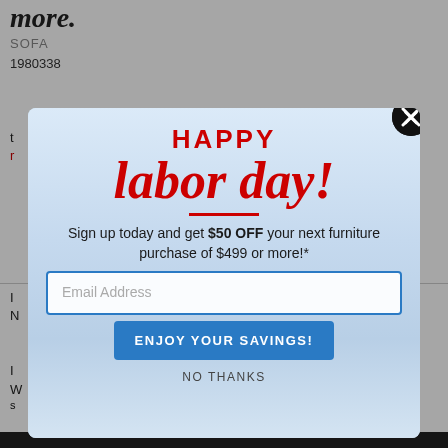more.
SOFA
1980338
[Figure (screenshot): Labor Day promotional modal popup over a furniture retail website. Modal shows 'HAPPY labor day!' in large red text on a light blue city skyline background, with offer text 'Sign up today and get $50 OFF your next furniture purchase of $499 or more!*', an email address input field, a blue 'ENJOY YOUR SAVINGS!' button, and a 'NO THANKS' text link. A black circular close button (X) appears in the upper right of the modal.]